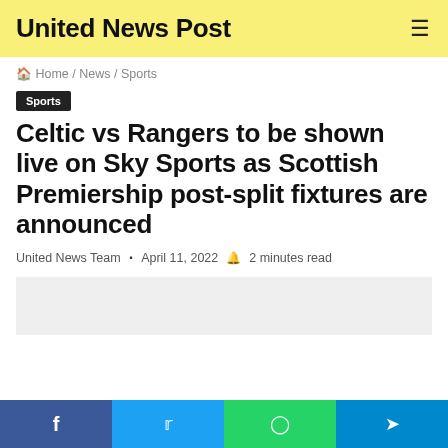United News Post
Home / News / Sports
Sports
Celtic vs Rangers to be shown live on Sky Sports as Scottish Premiership post-split fixtures are announced
United News Team · April 11, 2022 🔖 2 minutes read
[Figure (photo): Article image placeholder (light grey rectangle)]